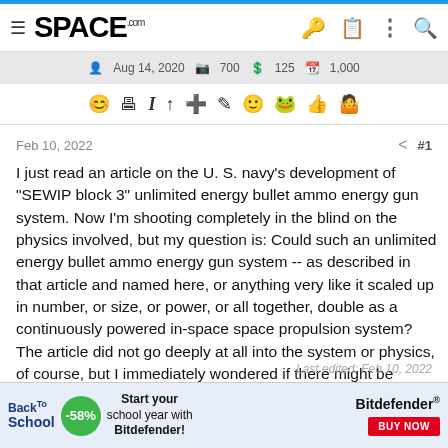SPACE.com navigation bar with logo and icons
[Figure (screenshot): Toolbar row showing: Aug 14, 2020, 700, 125, 1,000]
[Figure (screenshot): Icon toolbar with emoji and action icons]
Feb 10, 2022   < #1
I just read an article on the U. S. navy's development of "SEWIP block 3" unlimited energy bullet ammo energy gun system. Now I'm shooting completely in the blind on the physics involved, but my question is: Could such an unlimited energy bullet ammo energy gun system -- as described in that article and named here, or anything very like it scaled up in number, or size, or power, or all together, double as a continuously powered in-space space propulsion system? The article did not go deeply at all into the system or physics, of course, but I immediately wondered if there might be duality of use to such a system or the physics of it, whatever.
Last edited: Feb 10, 2022
[Figure (screenshot): Back To School advertisement banner: -58%, Start your school year with Bitdefender!, BUY NOW]